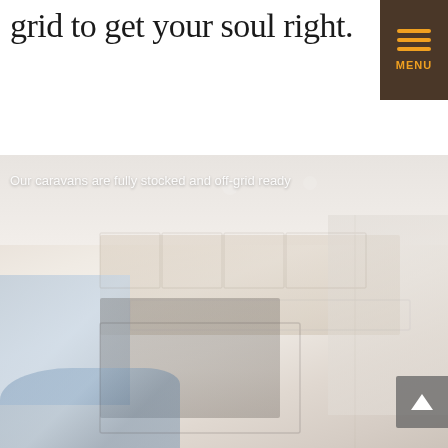grid to get your soul right.
[Figure (photo): Interior of a modern caravan/RV showing kitchen island, cabinetry, appliances, large windows, and tiled floor. The image is lightly washed out/faded.]
Our caravans are fully stocked and off-grid ready